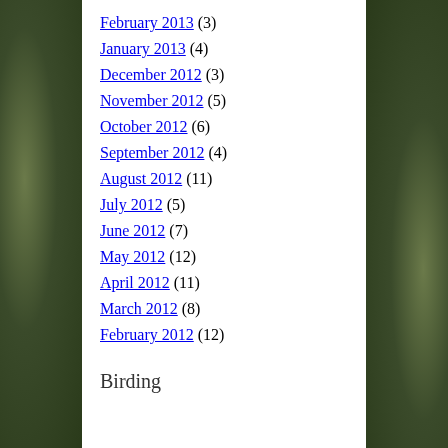February 2013 (3)
January 2013 (4)
December 2012 (3)
November 2012 (5)
October 2012 (6)
September 2012 (4)
August 2012 (11)
July 2012 (5)
June 2012 (7)
May 2012 (12)
April 2012 (11)
March 2012 (8)
February 2012 (12)
Birding